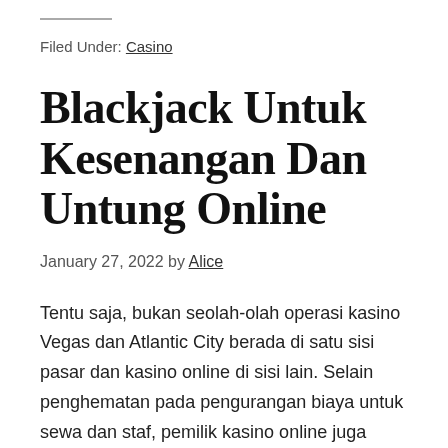Filed Under: Casino
Blackjack Untuk Kesenangan Dan Untung Online
January 27, 2022 by Alice
Tentu saja, bukan seolah-olah operasi kasino Vegas dan Atlantic City berada di satu sisi pasar dan kasino online di sisi lain. Selain penghematan pada pengurangan biaya untuk sewa dan staf, pemilik kasino online juga menyadari penghematan besar dalam keamanan-tidak ada rekaman video recording